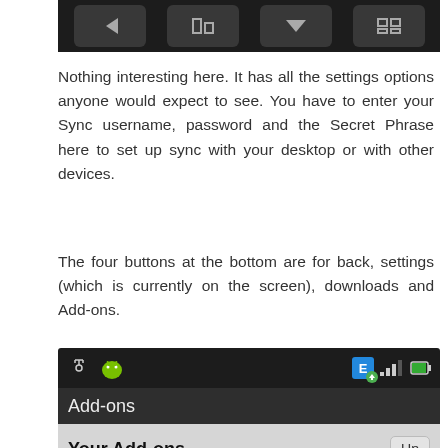[Figure (screenshot): Top portion of an Android app screenshot showing four dark rounded buttons with icons at the bottom of a settings screen]
Nothing interesting here. It has all the settings options anyone would expect to see. You have to enter your Sync username, password and the Secret Phrase here to set up sync with your desktop or with other devices.
The four buttons at the bottom are for back, settings (which is currently on the screen), downloads and Add-ons.
[Figure (screenshot): Android app screenshot showing the Add-ons screen with status bar icons (USB, Android mascot, signal bars, battery), Add-ons title bar, Your Add-ons section with Update button, and Google Integrated Search add-on listed]